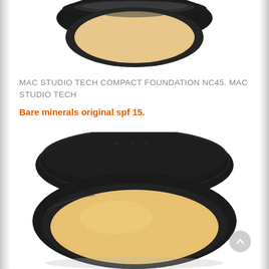[Figure (photo): Top portion of a MAC Studio Tech compact foundation in black round case, open lid visible, showing product partially from above]
MAC STUDIO TECH COMPACT FOUNDATION NC45. MAC STUDIO TECH
Bare minerals original spf 15.
[Figure (photo): MAC Fix+ compact powder foundation in black round case with lid open, showing warm beige/tan powder, MAC logo visible on lid]